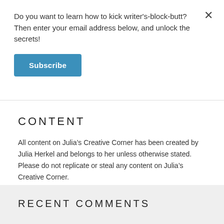Do you want to learn how to kick writer's-block-butt? Then enter your email address below, and unlock the secrets!
Subscribe
CONTENT
All content on Julia’s Creative Corner has been created by Julia Herkel and belongs to her unless otherwise stated. Please do not replicate or steal any content on Julia’s Creative Corner.
RECENT COMMENTS